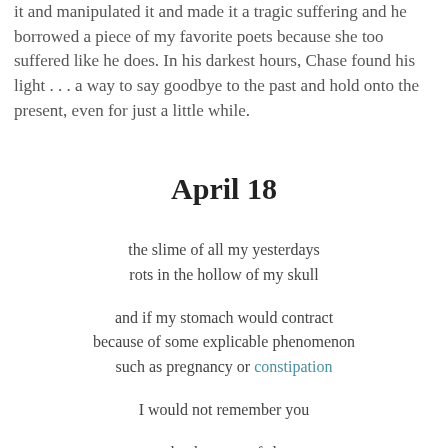it and manipulated it and made it a tragic suffering and he borrowed a piece of my favorite poets because she too suffered like he does. In his darkest hours, Chase found his light . . . a way to say goodbye to the past and hold onto the present, even for just a little while.
April 18
the slime of all my yesterdays
rots in the hollow of my skull

and if my stomach would contract
because of some explicable phenomenon
such as pregnancy or constipation

I would not remember you

or that because of sleep
infrequent as a moon of greencheese
that because of food